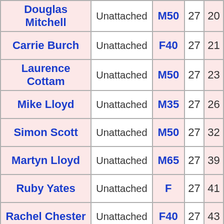| Name | Club | Category | Col4 | Col5 |
| --- | --- | --- | --- | --- |
| Douglas Mitchell | Unattached | M50 | 27 | 20… |
| Carrie Burch | Unattached | F40 | 27 | 21… |
| Laurence Cottam | Unattached | M50 | 27 | 23… |
| Mike Lloyd | Unattached | M35 | 27 | 26… |
| Simon Scott | Unattached | M50 | 27 | 32… |
| Martyn Lloyd | Unattached | M65 | 27 | 39… |
| Ruby Yates | Unattached | F | 27 | 41… |
| Rachel Chester | Unattached | F40 | 27 | 43… |